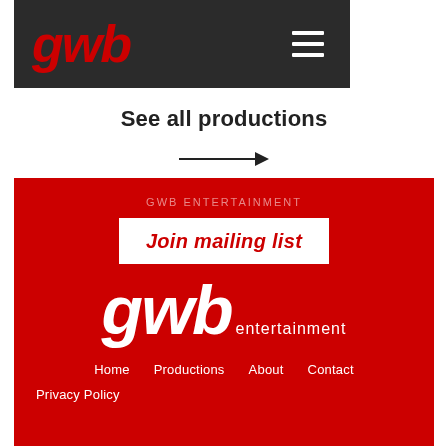[Figure (logo): GWB logo in red on dark grey/black header bar with hamburger menu icon on right]
See all productions
[Figure (other): Right-pointing arrow]
GWB ENTERTAINMENT
Join mailing list
[Figure (logo): GWB entertainment white logo on red background]
Home   Productions   About   Contact
Privacy Policy